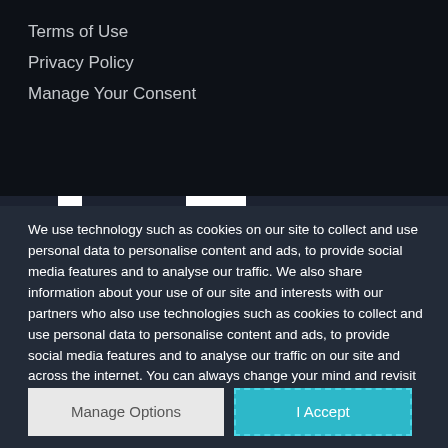Terms of Use
Privacy Policy
Manage Your Consent
We use technology such as cookies on our site to collect and use personal data to personalise content and ads, to provide social media features and to analyse our traffic. We also share information about your use of our site and interests with our partners who also use technologies such as cookies to collect and use personal data to personalise content and ads, to provide social media features and to analyse our traffic on our site and across the internet. You can always change your mind and revisit your choices.
Manage Options
I Accept